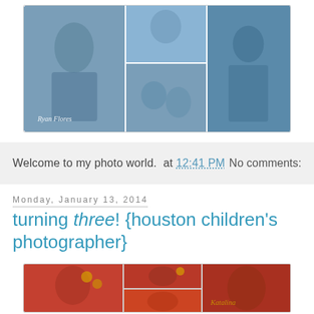[Figure (photo): Photo collage of a pregnant woman and family in teal/blue clothing, outdoors. Watermark reads 'Ryan Flores'.]
Welcome to my photo world.  at 12:41 PM    No comments:
Monday, January 13, 2014
turning three! {houston children's photographer}
[Figure (photo): Photo collage of a young girl in a red Minnie Mouse dress with polka dots, balloons, and decorations. Watermark reads 'Katalina'.]